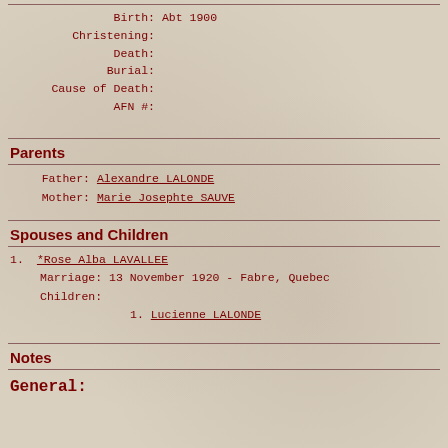Birth: Abt 1900
Christening:
Death:
Burial:
Cause of Death:
AFN #:
Parents
Father: Alexandre LALONDE
Mother: Marie Josephte SAUVE
Spouses and Children
1. *Rose Alba LAVALLEE
   Marriage: 13 November 1920 - Fabre, Quebec
   Children:
      1. Lucienne LALONDE
Notes
General: